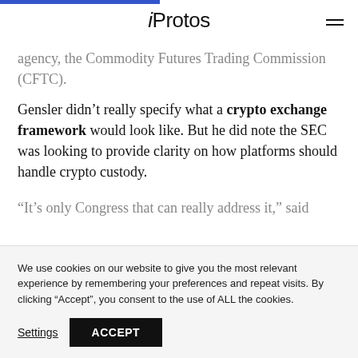iProtos
agency, the Commodity Futures Trading Commission (CFTC).
Gensler didn't really specify what a crypto exchange framework would look like. But he did note the SEC was looking to provide clarity on how platforms should handle crypto custody.
“It’s only Congress that can really address it,” said
We use cookies on our website to give you the most relevant experience by remembering your preferences and repeat visits. By clicking “Accept”, you consent to the use of ALL the cookies.